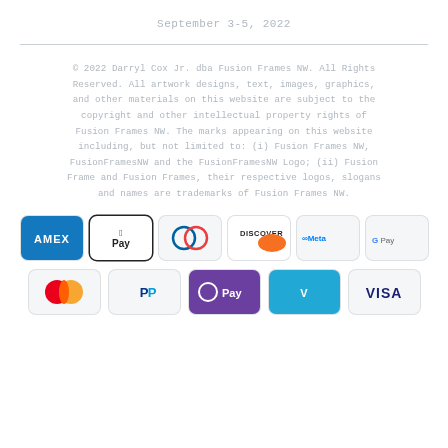September 3-5, 2022
© 2022 Darryl Cox Jr. dba Fusion Frames NW. All Rights Reserved. All artwork designs, text, images, graphics, and other materials on this website are subject to the copyright and other intellectual property rights of Fusion Frames NW. The marks appearing on this website including, but not limited to: (i) Fusion Frames NW, FusionFramesNW and the FusionFramesNW Logo; (ii) Fusion Frame and Fusion Frames, their respective logos, slogans and names are trademarks of Fusion Frames NW.
[Figure (infographic): Payment method icons: Amex, Apple Pay, Diners Club, Discover, Meta Pay, Google Pay, Mastercard, PayPal, OPay, Venmo, Visa]